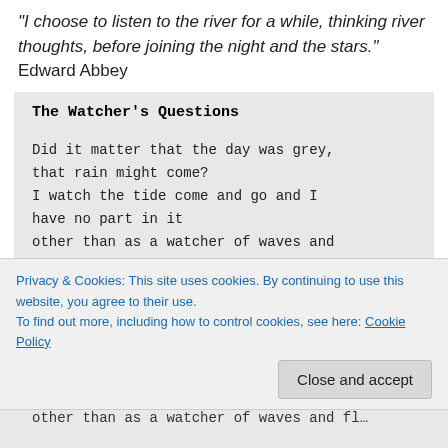“I choose to listen to the river for a while, thinking river thoughts, before joining the night and the stars.” Edward Abbey
The Watcher's Questions
Did it matter that the day was grey,
that rain might come?
I watch the tide come and go and I
have no part in it
other than as a watcher of waves and
Privacy & Cookies: This site uses cookies. By continuing to use this website, you agree to their use.
To find out more, including how to control cookies, see here: Cookie Policy
Close and accept
other than as a watcher of waves and fl…